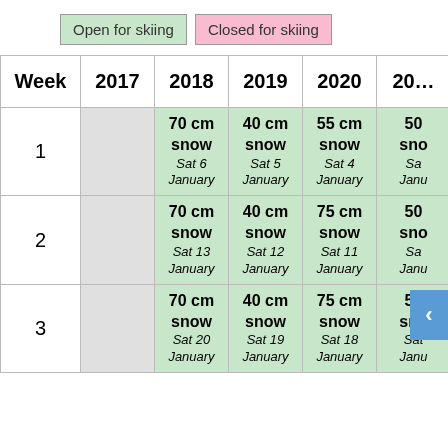Open for skiing
Closed for skiing
| Week | 2017 | 2018 | 2019 | 2020 | 202… |
| --- | --- | --- | --- | --- | --- |
| 1 |  | 70 cm snow Sat 6 January | 40 cm snow Sat 5 January | 55 cm snow Sat 4 January | 50 sno Sa Janu |
| 2 |  | 70 cm snow Sat 13 January | 40 cm snow Sat 12 January | 75 cm snow Sat 11 January | 50 sno Sa Janu |
| 3 |  | 70 cm snow Sat 20 January | 40 cm snow Sat 19 January | 75 cm snow Sat 18 January | 50 sno Sat Janu |